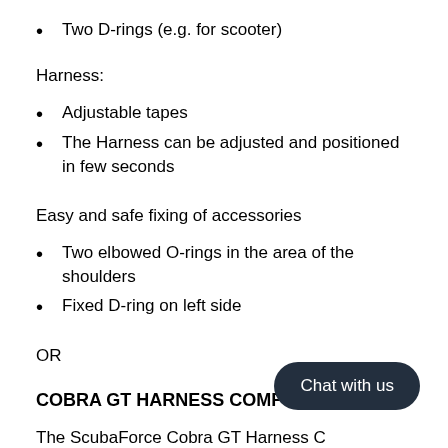Two D-rings (e.g. for scooter)
Harness:
Adjustable tapes
The Harness can be adjusted and positioned in few seconds
Easy and safe fixing of accessories
Two elbowed O-rings in the area of the shoulders
Fixed D-ring on left side
OR
COBRA GT HARNESS COMFORT
The ScubaForce Cobra GT Harness C…es safety aspects and wearing comfort … perfection. It is a comfortable and safe companion for all divers who not settle for the "standard".